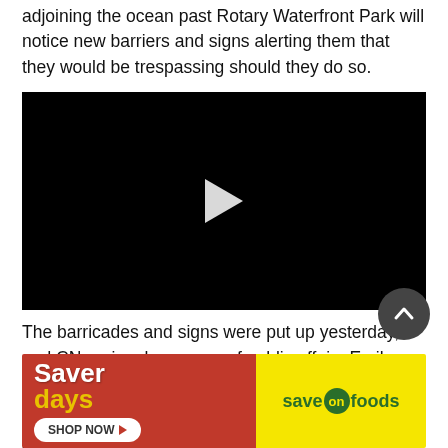adjoining the ocean past Rotary Waterfront Park will notice new barriers and signs alerting them that they would be trespassing should they do so.
[Figure (screenshot): Black video player with white play button triangle in center]
The barricades and signs were put up yesterday, and CN regional manager of public affairs Emily Hamer says it is due to safety concerns with the public on the railway’s property.
“As part of our commitment to safety, CN is prohibiting
[Figure (photo): Save on Foods advertisement banner: red left side with Saver days text and SHOP NOW button, yellow right side with save on foods logo]